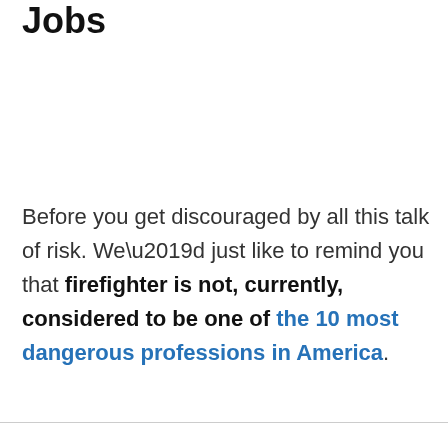Jobs
Before you get discouraged by all this talk of risk. We’d just like to remind you that firefighter is not, currently, considered to be one of the 10 most dangerous professions in America.